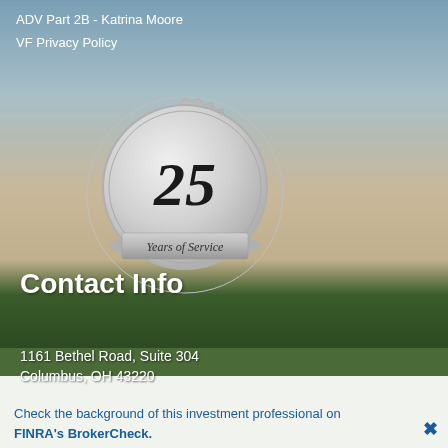ADV Part 2B - Katrina Moore
VF Privacy Policy
[Figure (illustration): Silver '25 Years of Service' medallion badge with serrated edge and ribbon banner]
Contact Info
1161 Bethel Road, Suite 304
Columbus, OH 43220
Check the background of this investment professional on FINRA's BrokerCheck.